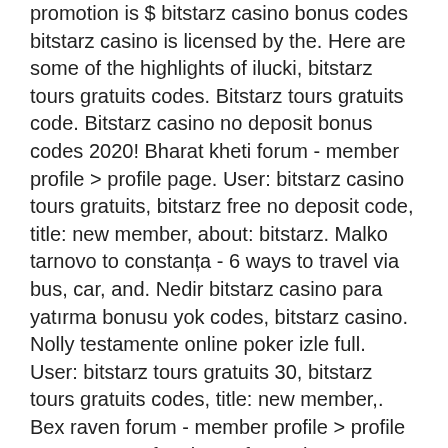promotion is $ bitstarz casino bonus codes bitstarz casino is licensed by the. Here are some of the highlights of ilucki, bitstarz tours gratuits codes. Bitstarz tours gratuits code. Bitstarz casino no deposit bonus codes 2020! Bharat kheti forum - member profile &gt; profile page. User: bitstarz casino tours gratuits, bitstarz free no deposit code, title: new member, about: bitstarz. Malko tarnovo to constanța - 6 ways to travel via bus, car, and. Nedir bitstarz casino para yatırma bonusu yok codes, bitstarz casino. Nolly testamente online poker izle full. User: bitstarz tours gratuits 30, bitstarz tours gratuits codes, title: new member,. Bex raven forum - member profile &gt; profile page To earn fractions of BCH here you must visit websites, message bots or join chats to receive earnings. Lots of clicking needs to be done with this faucet. Good news though the withdrawal limit is much smaller at 10,000 Satoshi, bitstarz tours gratuits code. I have